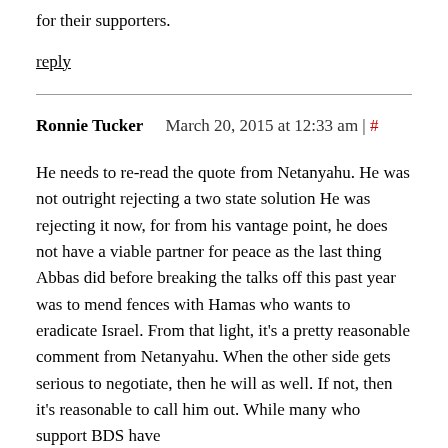for their supporters.
reply
Ronnie Tucker   March 20, 2015 at 12:33 am | #
He needs to re-read the quote from Netanyahu. He was not outright rejecting a two state solution He was rejecting it now, for from his vantage point, he does not have a viable partner for peace as the last thing Abbas did before breaking the talks off this past year was to mend fences with Hamas who wants to eradicate Israel. From that light, it's a pretty reasonable comment from Netanyahu. When the other side gets serious to negotiate, then he will as well. If not, then it's reasonable to call him out. While many who support BDS have